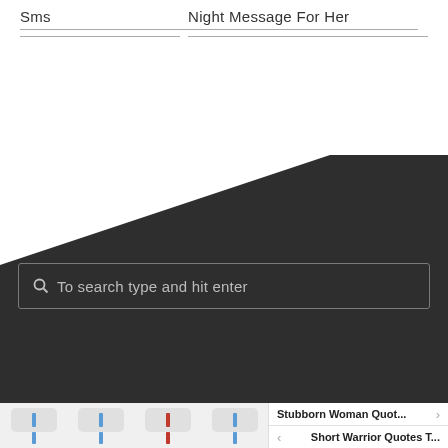Sms | Night Message For Her
[Figure (screenshot): Dark diagonal background section with a white triangular cutout in the upper-left, representing a mobile app interface background]
To search type and hit enter
[Figure (infographic): Bottom navigation bar with four icon buttons (blue, blue, red, blue icons) and two navigation links: Stubborn Woman Quot... and Short Warrior Quotes T...]